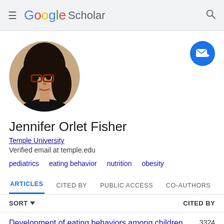Google Scholar
[Figure (photo): Circular profile photo of Jennifer Orlet Fisher, a woman with dark hair and glasses wearing a black top]
Jennifer Orlet Fisher
Temple University
Verified email at temple.edu
pediatrics
eating behavior
nutrition
obesity
ARTICLES  CITED BY  PUBLIC ACCESS  CO-AUTHORS
SORT  CITED BY
Development of eating behaviors among children  3324